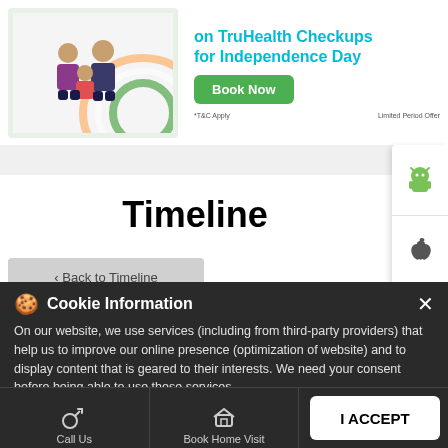[Figure (screenshot): Website screenshot showing a health checkup promotion banner with a family photo, 'for Independence Day' heading in teal, a green Book Now button, and small print notes. Below is a Timeline heading and a Back to Timeline button. An Android and iOS app icon panel is on the right side. Overlaid is a cookie consent dialog on a dark background with the text: On our website, we use services (including from third-party providers) that help us to improve our online presence (optimization of website) and to display content that is geared to their interests. We need your consent before being able to use these services. Bottom navigation shows Call Us, Book Home Visit, and Directions options with an I ACCEPT button.]